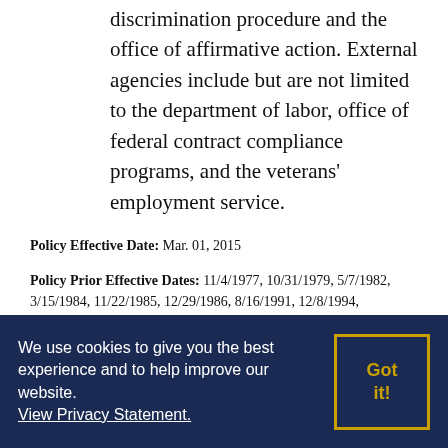discrimination procedure and the office of affirmative action. External agencies include but are not limited to the department of labor, office of federal contract compliance programs, and the veterans' employment service.
Policy Effective Date: Mar. 01, 2015
Policy Prior Effective Dates: 11/4/1977, 10/31/1979, 5/7/1982, 3/15/1984, 11/22/1985, 12/29/1986, 8/16/1991, 12/8/1994, 4/21/2003, 6/1/2007, 1/31/2008
We use cookies to give you the best experience and to help improve our website. View Privacy Statement.